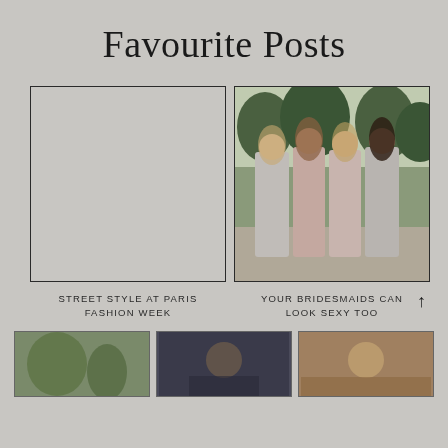Favourite Posts
[Figure (photo): Empty placeholder box with border for Street Style at Paris Fashion Week post]
[Figure (photo): Photo of four bridesmaids wearing long satin dresses in shades of blush, mauve, and silver, standing outdoors in a garden setting]
STREET STYLE AT PARIS FASHION WEEK
YOUR BRIDESMAIDS CAN LOOK SEXY TOO
[Figure (photo): Small thumbnail image 1 - green/plant tones]
[Figure (photo): Small thumbnail image 2 - dark tones]
[Figure (photo): Small thumbnail image 3 - warm golden tones]